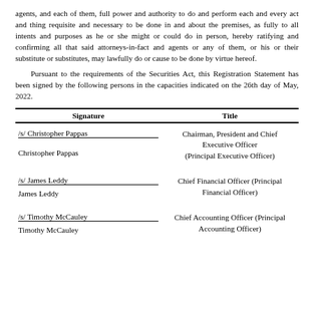agents, and each of them, full power and authority to do and perform each and every act and thing requisite and necessary to be done in and about the premises, as fully to all intents and purposes as he or she might or could do in person, hereby ratifying and confirming all that said attorneys-in-fact and agents or any of them, or his or their substitute or substitutes, may lawfully do or cause to be done by virtue hereof.
Pursuant to the requirements of the Securities Act, this Registration Statement has been signed by the following persons in the capacities indicated on the 26th day of May, 2022.
| Signature | Title |
| --- | --- |
| /s/ Christopher Pappas
Christopher Pappas | Chairman, President and Chief Executive Officer (Principal Executive Officer) |
| /s/ James Leddy
James Leddy | Chief Financial Officer (Principal Financial Officer) |
| /s/ Timothy McCauley
Timothy McCauley | Chief Accounting Officer (Principal Accounting Officer) |